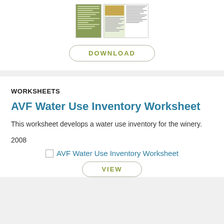[Figure (screenshot): Thumbnail preview of a document with green left panel and text/image on the right]
DOWNLOAD
WORKSHEETS
AVF Water Use Inventory Worksheet
This worksheet develops a water use inventory for the winery.
2008
[Figure (screenshot): AVF Water Use Inventory Worksheet thumbnail image]
VIEW